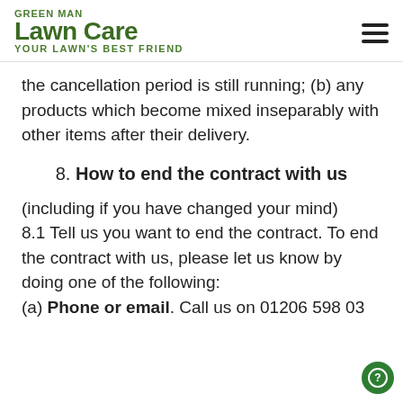Green Man Lawn Care — Your Lawn's Best Friend
the cancellation period is still running; (b) any products which become mixed inseparably with other items after their delivery.
8. How to end the contract with us
(including if you have changed your mind) 8.1 Tell us you want to end the contract. To end the contract with us, please let us know by doing one of the following: (a) Phone or email. Call us on 01206 598 03